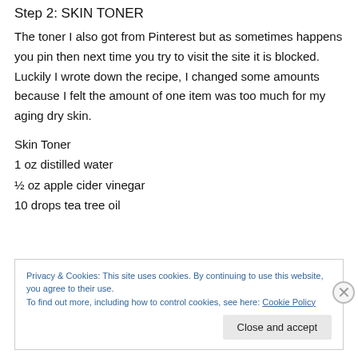Step 2: SKIN TONER
The toner I also got from Pinterest but as sometimes happens you pin then next time you try to visit the site it is blocked. Luckily I wrote down the recipe, I changed some amounts because I felt the amount of one item was too much for my aging dry skin.
Skin Toner
1 oz distilled water
½ oz apple cider vinegar
10 drops tea tree oil
Privacy & Cookies: This site uses cookies. By continuing to use this website, you agree to their use.
To find out more, including how to control cookies, see here: Cookie Policy
[Close and accept]